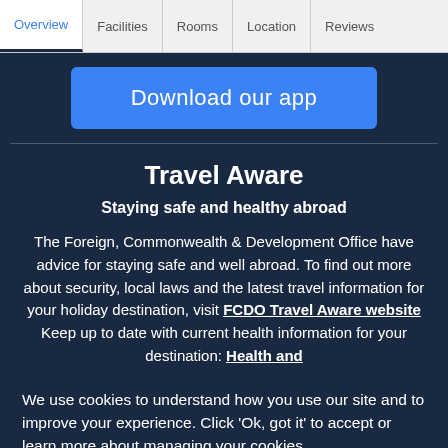Overview | Facilities | Rooms | Location | Reviews
Download our app
Travel Aware
Staying safe and healthy abroad
The Foreign, Commonwealth & Development Office have advice for staying safe and well abroad. To find out more about security, local laws and the latest travel information for your holiday destination, visit FCDO Travel Aware website Keep up to date with current health information for your destination: Health and
We use cookies to understand how you use our site and to improve your experience. Click 'Ok, got it' to accept or learn more about managing your cookies.
Learn more
Ok, got it